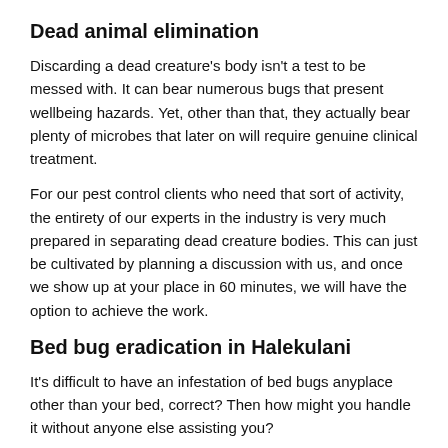Dead animal elimination
Discarding a dead creature's body isn't a test to be messed with. It can bear numerous bugs that present wellbeing hazards. Yet, other than that, they actually bear plenty of microbes that later on will require genuine clinical treatment.
For our pest control clients who need that sort of activity, the entirety of our experts in the industry is very much prepared in separating dead creature bodies. This can just be cultivated by planning a discussion with us, and once we show up at your place in 60 minutes, we will have the option to achieve the work.
Bed bug eradication in Halekulani
It's difficult to have an infestation of bed bugs anyplace other than your bed, correct? Then how might you handle it without anyone else assisting you?
When adapting to it, a particularly turbulent errand can require a gigantic measure of energy. In any case, rather than